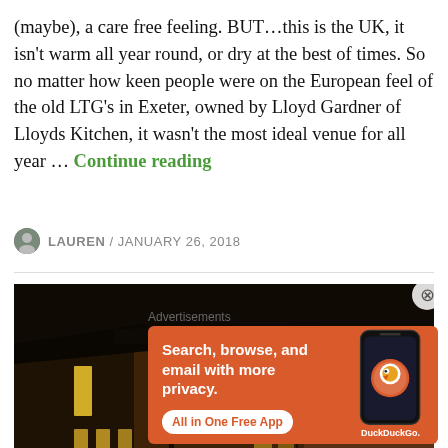(maybe), a care free feeling. BUT…this is the UK, it isn't warm all year round, or dry at the best of times. So no matter how keen people were on the European feel of the old LTG's in Exeter, owned by Lloyd Gardner of Lloyds Kitchen, it wasn't the most ideal venue for all year … Continue reading
LAUREN / JANUARY 26, 2018
[Figure (photo): Nighttime exterior photograph of a historic brick building with illuminated windows, viewed from a low angle against a dark sky.]
Advertisements
[Figure (infographic): DuckDuckGo advertisement banner with orange background. Text: 'Search, browse, and email with more privacy. All in One Free App'. Shows a smartphone with DuckDuckGo logo.]